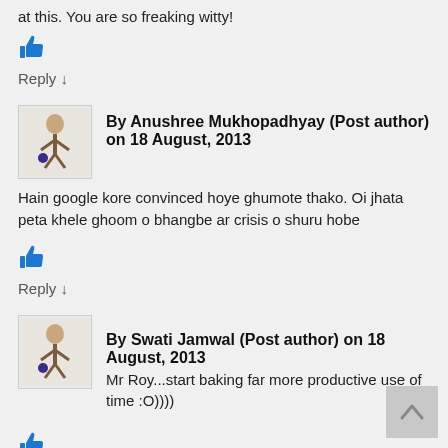at this. You are so freaking witty!
[Figure (illustration): Blue thumbs-up like icon]
Reply ↓
By Anushree Mukhopadhyay (Post author) on 18 August, 2013
[Figure (illustration): Avatar figurine illustration]
Hain google kore convinced hoye ghumote thako. Oi jhata peta khele ghoom o bhangbe ar crisis o shuru hobe
[Figure (illustration): Blue thumbs-up like icon]
Reply ↓
By Swati Jamwal (Post author) on 18 August, 2013
[Figure (illustration): Avatar figurine illustration]
Mr Roy...start baking far more productive use of time :O))))
[Figure (illustration): Blue thumbs-up like icon]
[Figure (illustration): Back to top arrow button]